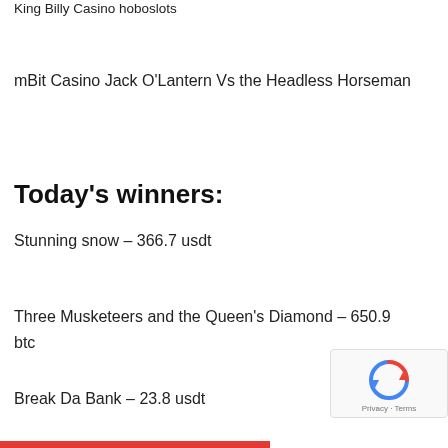King Billy Casino hoboslots
mBit Casino Jack O'Lantern Vs the Headless Horseman
Today's winners:
Stunning snow – 366.7 usdt
Three Musketeers and the Queen's Diamond – 650.9 btc
Break Da Bank – 23.8 usdt